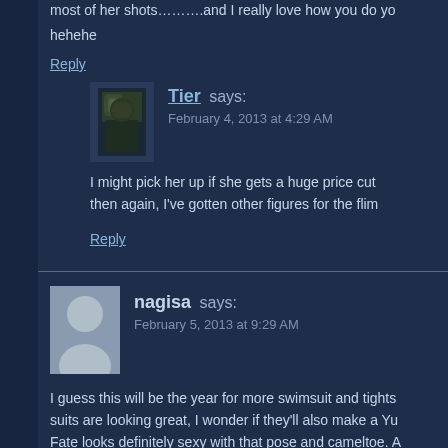most of her shots……….and I really love how you do yo hehehe
Reply
[Figure (photo): Avatar image for user Tier - appears to show a character in dark clothing]
Tier says:
February 4, 2013 at 4:29 AM
I might pick her up if she gets a huge price cut then again, I've gotten other figures for the flim
Reply
[Figure (photo): Generic user avatar - silhouette of a person in gray]
nagisa says:
February 5, 2013 at 9:29 AM
I guess this will be the year for more swimsuit and tights suits are looking great, I wonder if they'll also make a Yu Fate looks definitely sexy with that pose and cameltoe. A finish thier se:Kirara set and they're all looking lovely (al